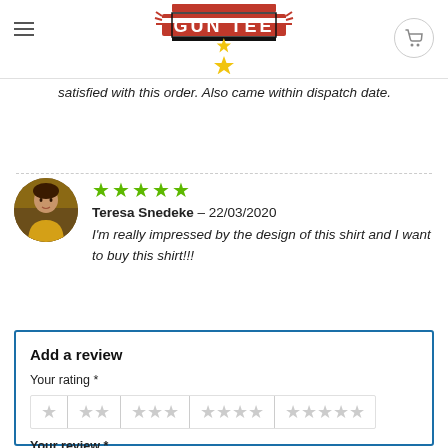GUN TEE
satisfied with this order. Also came within dispatch date.
Teresa Snedeke – 22/03/2020
I'm really impressed by the design of this shirt and I want to buy this shirt!!!
Add a review
Your rating *
Your review *